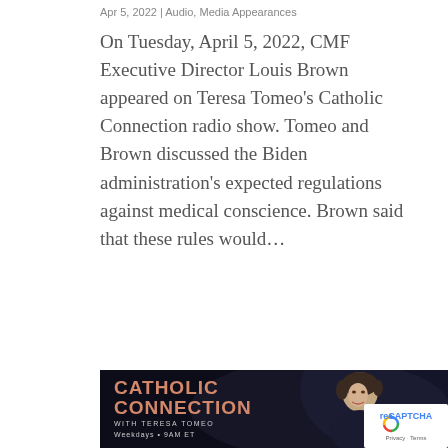Apr 5, 2022 | Audio, Media Appearances
On Tuesday, April 5, 2022, CMF Executive Director Louis Brown appeared on Teresa Tomeo’s Catholic Connection radio show. Tomeo and Brown discussed the Biden administration’s expected regulations against medical conscience. Brown said that these rules would…
[Figure (photo): Catholic Connection with Teresa Tomeo radio show promotional banner on dark background, showing the show name in orange/salmon bold text, subtitle 'With Teresa Tomeo', 'Weekdays • 9AM ET', with a photo of Teresa Tomeo on the right side. A reCAPTCHA badge appears in the bottom right corner.]